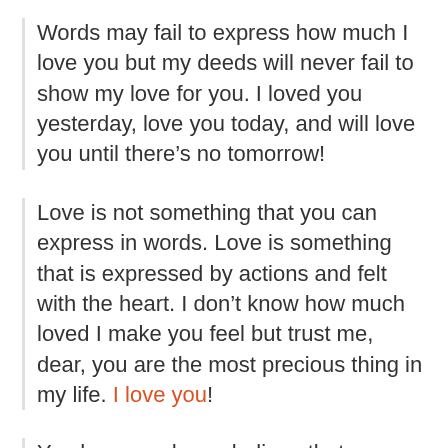Words may fail to express how much I love you but my deeds will never fail to show my love for you. I loved you yesterday, love you today, and will love you until there’s no tomorrow!
Love is not something that you can express in words. Love is something that is expressed by actions and felt with the heart. I don’t know how much loved I make you feel but trust me, dear, you are the most precious thing in my life. I love you!
You have made me believe that fairytales